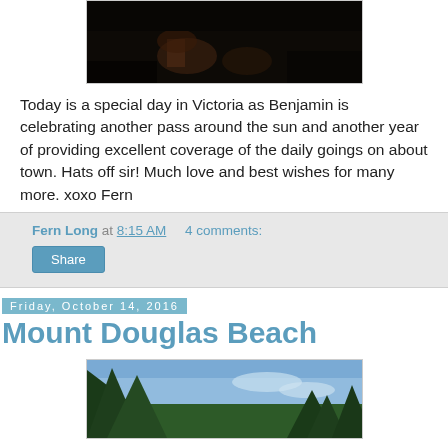[Figure (photo): Dark nighttime photo, likely an outdoor event or gathering with dim warm lighting]
Today is a special day in Victoria as Benjamin is celebrating another pass around the sun and another year of providing excellent coverage of the daily goings on about town. Hats off sir! Much love and best wishes for many more. xoxo Fern
Fern Long at 8:15 AM    4 comments:
Share
Friday, October 14, 2016
Mount Douglas Beach
[Figure (photo): Outdoor photo showing trees and blue sky, likely Mount Douglas Beach area]